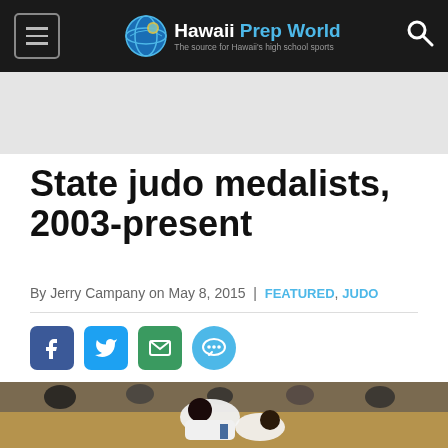Hawaii Prep World — The source for Hawaii's high school sports
State judo medalists, 2003-present
By Jerry Campany on May 8, 2015 | FEATURED, JUDO
[Figure (photo): Two judo competitors in white gi grappling on a mat, with spectators visible in the bleachers behind them]